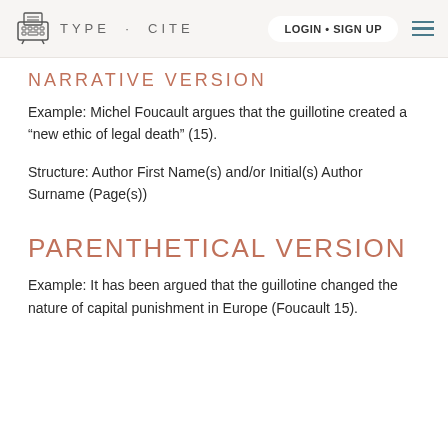TYPE · CITE  LOGIN • SIGN UP
NARRATIVE VERSION
Example: Michel Foucault argues that the guillotine created a "new ethic of legal death" (15).
Structure: Author First Name(s) and/or Initial(s) Author Surname (Page(s))
PARENTHETICAL VERSION
Example: It has been argued that the guillotine changed the nature of capital punishment in Europe (Foucault 15).